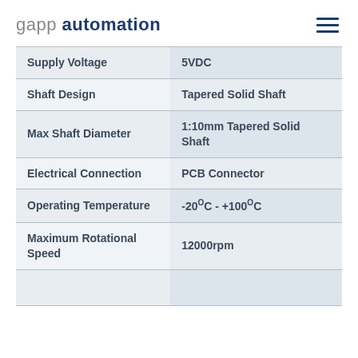gapp automation
| Property | Value |
| --- | --- |
| Supply Voltage | 5VDC |
| Shaft Design | Tapered Solid Shaft |
| Max Shaft Diameter | 1:10mm Tapered Solid Shaft |
| Electrical Connection | PCB Connector |
| Operating Temperature | -20°C - +100°C |
| Maximum Rotational Speed | 12000rpm |
|  |  |